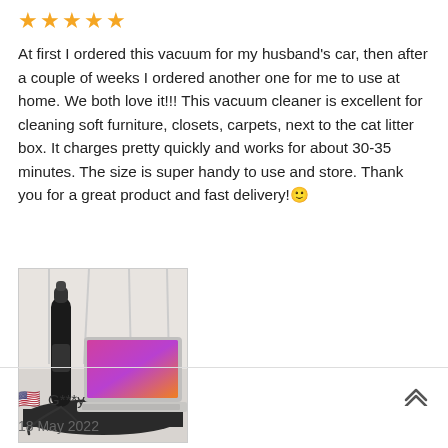★★★★★
At first I ordered this vacuum for my husband's car, then after a couple of weeks I ordered another one for me to use at home. We both love it!!! This vacuum cleaner is excellent for cleaning soft furniture, closets, carpets, next to the cat litter box. It charges pretty quickly and works for about 30-35 minutes. The size is super handy to use and store. Thank you for a great product and fast delivery!🙂
[Figure (photo): A photo showing a dark cylindrical handheld vacuum cleaner with a charging cable, placed on a dark round table next to an open MacBook laptop.]
🇺🇸 G***y
18 May 2022